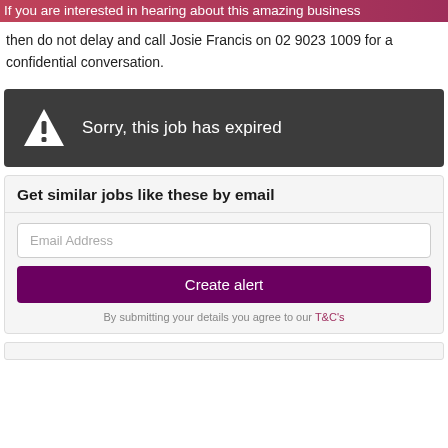If you are interested in hearing about this amazing business then do not delay and call Josie Francis on 02 9023 1009 for a confidential conversation.
[Figure (infographic): Dark grey banner with white warning triangle icon and exclamation mark, and text 'Sorry, this job has expired']
Get similar jobs like these by email
Email Address
Create alert
By submitting your details you agree to our T&C's